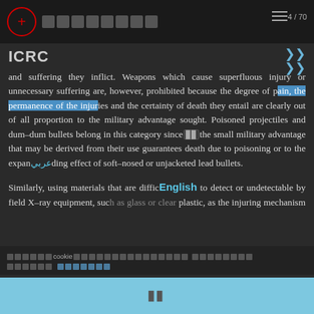ICRC
and suffering they inflict. Weapons which cause superfluous injury or unnecessary suffering are, however, prohibited because the degree of pain, the permanence of the injuries and the certainty of death they entail are clearly out of all proportion to the military advantage sought. Poisoned projectiles and dum-dum bullets belong in this category since the small military advantage that may be derived from their use guarantees death due to poisoning or to the expanding effect of soft-nosed or unjacketed lead bullets.
Similarly, using materials that are difficult to detect or undetectable by field X-ray equipment, such as glass or clear plastic, as the injuring mechanism in military ammunition is prohibited, since they unnecessarily impede treatment of wounds...
Cookie notice text with accept button